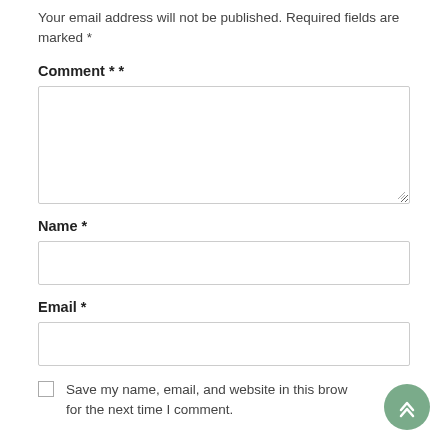Your email address will not be published. Required fields are marked *
Comment * *
Name *
Email *
Save my name, email, and website in this browser for the next time I comment.